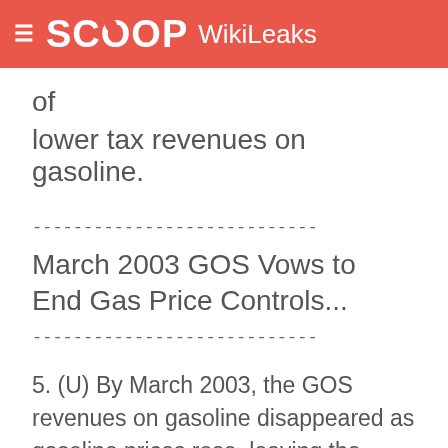SCOOP WikiLeaks
of
lower tax revenues on gasoline.
----------------------------
March 2003 GOS Vows to End Gas Price Controls...
----------------------------
5. (U) By March 2003, the GOS revenues on gasoline disappeared as gasoline prices rose, leaving the GOS essentially subsidizing gasoline. The GOS made the politically tough decision to fix a new price for gasoline, shifting the price from SRD 1.10 ($0.41 USD)